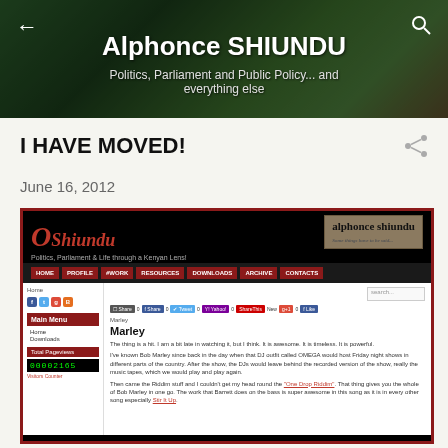Alphonce SHIUNDU — Politics, Parliament and Public Policy... and everything else
I HAVE MOVED!
June 16, 2012
[Figure (screenshot): Screenshot of the Alphonce Shiundu blog website showing the homepage with navigation bar (Home, Profile, Work, Resources, Downloads, Archive, Contacts), sidebar with social icons and visitor counter showing 00002165, and an article about Marley.]